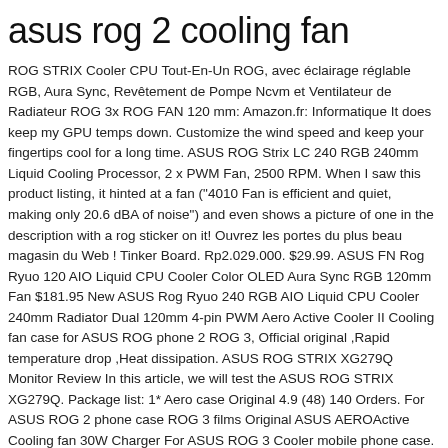asus rog 2 cooling fan
ROG STRIX Cooler CPU Tout-En-Un ROG, avec éclairage réglable RGB, Aura Sync, Revêtement de Pompe Ncvm et Ventilateur de Radiateur ROG 3x ROG FAN 120 mm: Amazon.fr: Informatique It does keep my GPU temps down. Customize the wind speed and keep your fingertips cool for a long time. ASUS ROG Strix LC 240 RGB 240mm Liquid Cooling Processor, 2 x PWM Fan, 2500 RPM. When I saw this product listing, it hinted at a fan ("4010 Fan is efficient and quiet, making only 20.6 dBA of noise") and even shows a picture of one in the description with a rog sticker on it! Ouvrez les portes du plus beau magasin du Web ! Tinker Board. Rp2.029.000. $29.99. ASUS FN Rog Ryuo 120 AIO Liquid CPU Cooler Color OLED Aura Sync RGB 120mm Fan $181.95 New ASUS Rog Ryuo 240 RGB AIO Liquid CPU Cooler 240mm Radiator Dual 120mm 4-pin PWM Aero Active Cooler II Cooling fan case for ASUS ROG phone 2 ROG 3, Official original ,Rapid temperature drop ,Heat dissipation. ASUS ROG STRIX XG279Q Monitor Review In this article, we will test the ASUS ROG STRIX XG279Q. Package list: 1* Aero case Original 4.9 (48) 140 Orders. For ASUS ROG 2 phone case ROG 3 films Original ASUS AEROActive Cooling fan 30W Charger For ASUS ROG 3 Cooler mobile phone case.